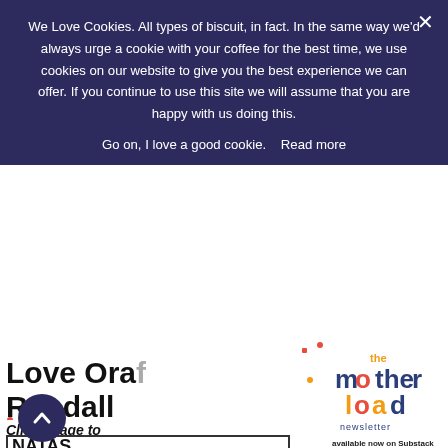We Love Cookies. All types of biscuit, in fact. In the same way we'd always urge a cookie with your coffee for the best time, we use cookies on our website to give you the best experience we can offer. If you continue to use this site we will assume that you are happy with us doing this.
Go on, I love a good cookie.   Read more
Love Ora... Randall
Click image to...
[Figure (illustration): Partial view of a book cover with text 'NATASHA RANDALL' in bold black uppercase letters on white background, with orange/red section at bottom]
[Figure (logo): The Motherload newsletter logo with colorful text: 'the' in orange, 'mother' in pink/blue/magenta letters, 'load' in orange/dark blue letters, with 'newsletter' below in dark navy, on white background with colorful confetti dots. Text 'available now on Substack' below.]